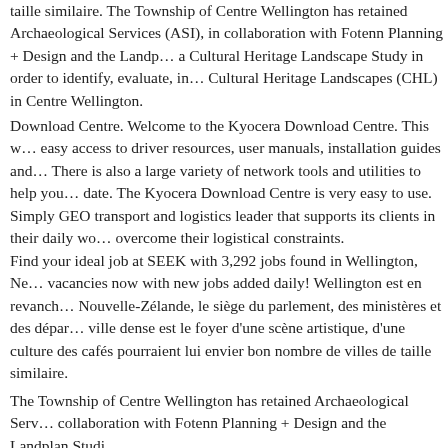taille similaire. The Township of Centre Wellington has retained Archaeological Services (ASI), in collaboration with Fotenn Planning + Design and the Landplan Studios, to prepare a Cultural Heritage Landscape Study in order to identify, evaluate, inventory and manage Cultural Heritage Landscapes (CHL) in Centre Wellington.
Download Centre. Welcome to the Kyocera Download Centre. This website provides easy access to driver resources, user manuals, installation guides and. There is also a large variety of network tools and utilities to help you. date. The Kyocera Download Centre is very easy to use. Simply GEO transport and logistics leader that supports its clients in their daily work to help them overcome their logistical constraints.
Find your ideal job at SEEK with 3,292 jobs found in Wellington, New Zealand. View all vacancies now with new jobs added daily! Wellington est en revanche la capitale de la Nouvelle-Zélande, le siège du parlement, des ministères et des départements. Cette ville dense est le foyer d'une scène artistique, d'une culture des cafés et des bars que lui pourraient lui envier bon nombre de villes de taille similaire.
The Township of Centre Wellington has retained Archaeological Services (ASI), in collaboration with Fotenn Planning + Design and the Landplan Studios